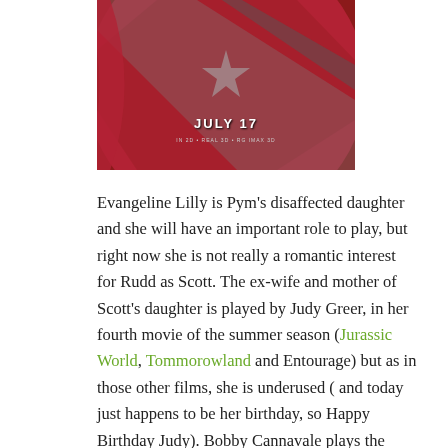[Figure (photo): Close-up of Captain America's shield with red, blue and gray colors. Text overlay reads 'JULY 17' with small text below indicating 3D/IMAX format.]
Evangeline Lilly is Pym's disaffected daughter and she will have an important role to play, but right now she is not really a romantic interest for Rudd as Scott. The ex-wife and mother of Scott's daughter is played by Judy Greer, in her fourth movie of the summer season (Jurassic World, Tommorowland and Entourage) but as in those other films, she is underused ( and today just happens to be her birthday, so Happy Birthday Judy). Bobby Cannavale plays the cop/future step father to Scott's child and he doesn't get the suave role he had in "Spy" but he does get to do the comedy material pretty